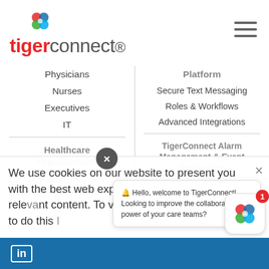[Figure (logo): TigerConnect logo with colorful icon and red/gray text]
Physicians
Nurses
Executives
IT
Platform
Secure Text Messaging
Roles & Workflows
Advanced Integrations
Healthcare Organizations
Ambulatory Surgery Centers
TigerConnect Alarm Management & Event Notification
Nurse Call
We use cookies on our website to present you with the best web experience and the most relevant content. To view this website you must consent to do this.
🔔 Hello, welcome to TigerConnect! Looking to improve the collaboration power of your care teams?